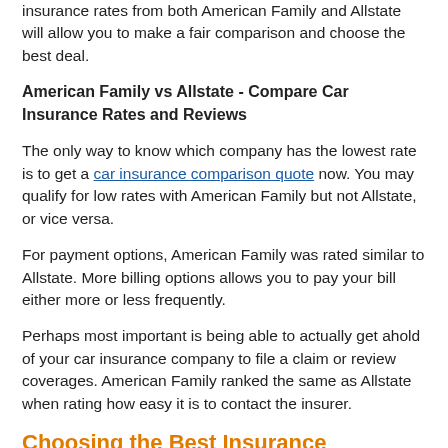insurance rates from both American Family and Allstate will allow you to make a fair comparison and choose the best deal.
American Family vs Allstate - Compare Car Insurance Rates and Reviews
The only way to know which company has the lowest rate is to get a car insurance comparison quote now. You may qualify for low rates with American Family but not Allstate, or vice versa.
For payment options, American Family was rated similar to Allstate. More billing options allows you to pay your bill either more or less frequently.
Perhaps most important is being able to actually get ahold of your car insurance company to file a claim or review coverages. American Family ranked the same as Allstate when rating how easy it is to contact the insurer.
Choosing the Best Insurance Company
Do more overall stars really mean a company is good or bad?